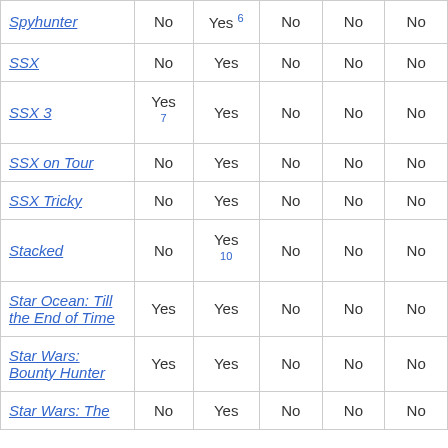| Spyhunter | No | Yes 6 | No | No | No |
| SSX | No | Yes | No | No | No |
| SSX 3 | Yes 7 | Yes | No | No | No |
| SSX on Tour | No | Yes | No | No | No |
| SSX Tricky | No | Yes | No | No | No |
| Stacked | No | Yes 10 | No | No | No |
| Star Ocean: Till the End of Time | Yes | Yes | No | No | No |
| Star Wars: Bounty Hunter | Yes | Yes | No | No | No |
| Star Wars: The | No | Yes | No | No | No |